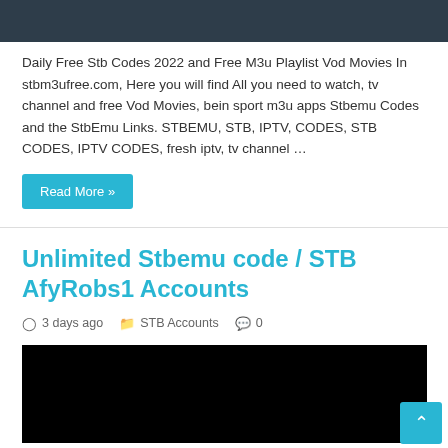[Figure (screenshot): Dark banner/header image at top of page]
Daily Free Stb Codes 2022 and Free M3u Playlist Vod Movies In stbm3ufree.com, Here you will find All you need to watch, tv channel and free Vod Movies, bein sport m3u apps Stbemu Codes and the StbEmu Links. STBEMU, STB, IPTV, CODES, STB CODES, IPTV CODES, fresh iptv, tv channel …
Read More »
Unlimited Stbemu code / STB AfyRobs1 Accounts
3 days ago   STB Accounts   0
[Figure (screenshot): Black image/video thumbnail at bottom of page]